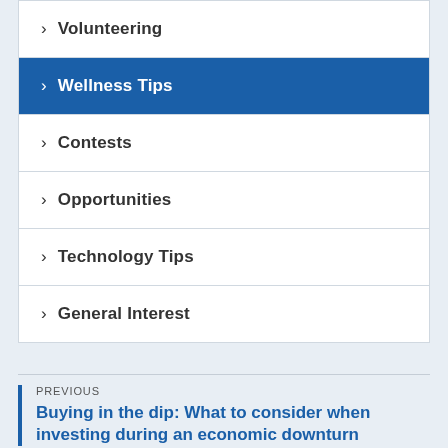> Volunteering
> Wellness Tips
> Contests
> Opportunities
> Technology Tips
> General Interest
PREVIOUS
Buying in the dip: What to consider when investing during an economic downturn